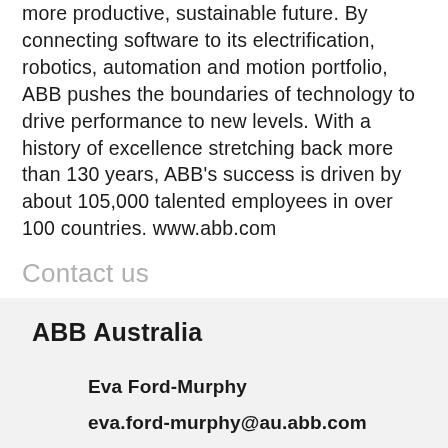more productive, sustainable future. By connecting software to its electrification, robotics, automation and motion portfolio, ABB pushes the boundaries of technology to drive performance to new levels. With a history of excellence stretching back more than 130 years, ABB's success is driven by about 105,000 talented employees in over 100 countries. www.abb.com
Contact us
ABB Australia
Eva Ford-Murphy
eva.ford-murphy@au.abb.com